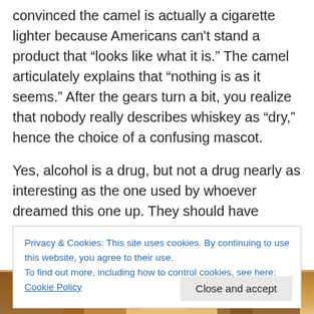convinced the camel is actually a cigarette lighter because Americans can't stand a product that “looks like what it is.” The camel articulately explains that “nothing is as it seems.” After the gears turn a bit, you realize that nobody really describes whiskey as “dry,” hence the choice of a confusing mascot.
Yes, alcohol is a drug, but not a drug nearly as interesting as the one used by whoever dreamed this one up. They should have consulted with the folks who invented the Camel cigarettes campaign — they at least had their
Privacy & Cookies: This site uses cookies. By continuing to use this website, you agree to their use.
To find out more, including how to control cookies, see here: Cookie Policy
Close and accept
[Figure (illustration): Partial view of a colorful illustrated image at the bottom of the page, showing cartoon-style figures with warm brown and tan tones.]